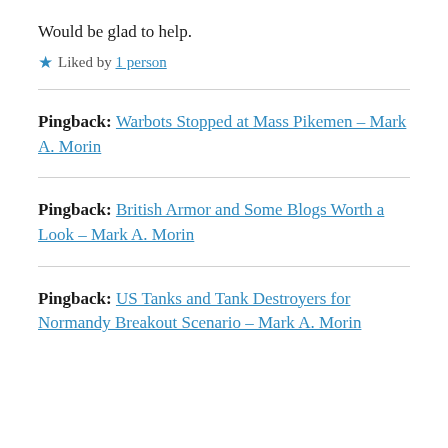Would be glad to help.
★ Liked by 1 person
Pingback: Warbots Stopped at Mass Pikemen – Mark A. Morin
Pingback: British Armor and Some Blogs Worth a Look – Mark A. Morin
Pingback: US Tanks and Tank Destroyers for Normandy Breakout Scenario – Mark A. Morin